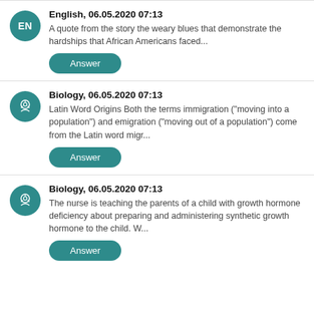English, 06.05.2020 07:13 — A quote from the story the weary blues that demonstrate the hardships that African Americans faced...
Biology, 06.05.2020 07:13 — Latin Word Origins Both the terms immigration ("moving into a population") and emigration ("moving out of a population") come from the Latin word migr...
Biology, 06.05.2020 07:13 — The nurse is teaching the parents of a child with growth hormone deficiency about preparing and administering synthetic growth hormone to the child. W...